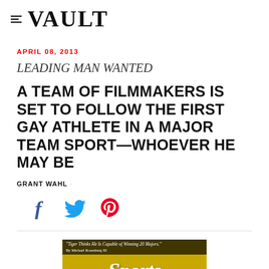VAULT
APRIL 08, 2013
LEADING MAN WANTED
A TEAM OF FILMMAKERS IS SET TO FOLLOW THE FIRST GAY ATHLETE IN A MAJOR TEAM SPORT—WHOEVER HE MAY BE
GRANT WAHL ·
[Figure (other): Social sharing icons: Facebook, Twitter, Pinterest]
[Figure (photo): Sports Illustrated magazine cover partial image showing the Sports logo on gold/yellow background with caption 'Tiger Thinks He Is Capable of Winning 20 Majors.' By Michael Rosenberg III]